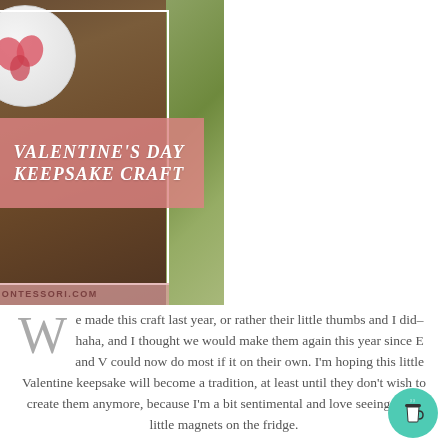[Figure (photo): Photo of white clay disc ornaments with red/pink thumbprint heart designs on a dark granite countertop background, with greenery visible on the right side. A pink semi-transparent banner overlays the photo with the text 'VALENTINE'S DAY KEEPSAKE CRAFT' in white italic bold font. A URL bar at the bottom reads 'FRENCHFAMILYMONTESSORI.COM'.]
We made this craft last year, or rather their little thumbs and I did–haha, and I thought we would make them again this year since E and V could now do most if it on their own. I'm hoping this little Valentine keepsake will become a tradition, at least until they don't wish to create them anymore, because I'm a bit sentimental and love seeing these little magnets on the fridge.